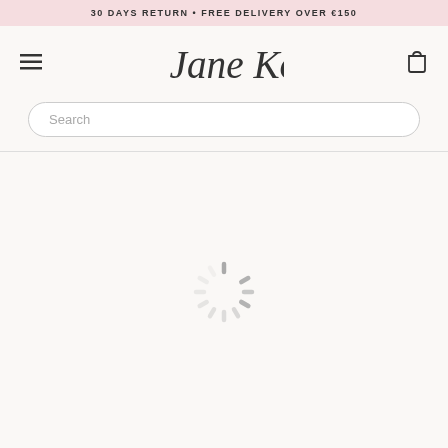30 DAYS RETURN • FREE DELIVERY OVER €150
[Figure (logo): Jane KKönig cursive script logo]
[Figure (other): Hamburger menu icon (three horizontal lines)]
[Figure (other): Shopping bag cart icon]
Search
[Figure (other): Loading spinner animation (circular dashes spinner)]